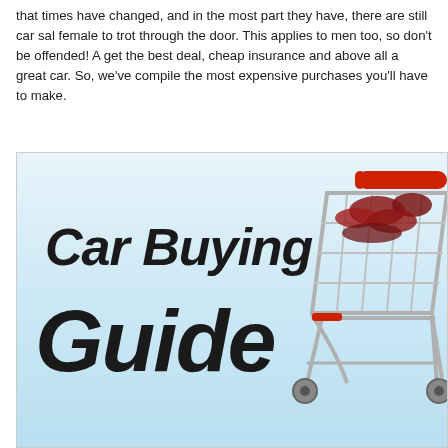that times have changed, and in the most part they have, there are still car sal... female to trot through the door. This applies to men too, so don't be offended! A... get the best deal, cheap insurance and above all a great car. So, we've compile... the most expensive purchases you'll have to make.
[Figure (illustration): Car Buying Guide promotional image with large handwritten-style black text reading 'Car Buying Guide' on a light blue gradient background, with a shopping cart filled with items visible on the right side.]